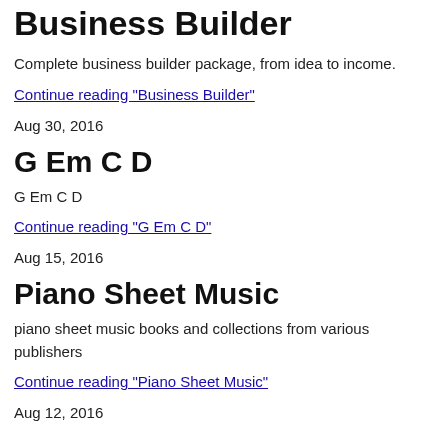Business Builder
Complete business builder package, from idea to income.
Continue reading "Business Builder"
Aug 30, 2016
G Em C D
G Em C D
Continue reading "G Em C D"
Aug 15, 2016
Piano Sheet Music
piano sheet music books and collections from various publishers
Continue reading "Piano Sheet Music"
Aug 12, 2016